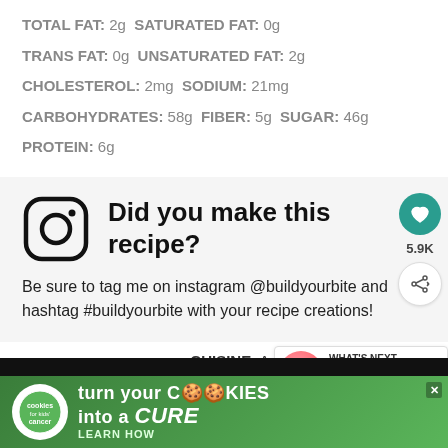TOTAL FAT: 2g SATURATED FAT: 0g
TRANS FAT: 0g UNSATURATED FAT: 2g
CHOLESTEROL: 2mg SODIUM: 21mg
CARBOHYDRATES: 58g FIBER: 5g SUGAR: 46g
PROTEIN: 6g
[Figure (logo): Instagram camera icon]
Did you make this recipe?
Be sure to tag me on instagram @buildyourbite and hashtag #buildyourbite with your recipe creations!
© Joy Shull
CUISINE: American /
CATEGORY: Smoothies
[Figure (photo): Strawberry Banana smoothie thumbnail with WHAT'S NEXT label]
[Figure (infographic): Advertisement banner: cookies for kids cancer - turn your cookies into a CURE LEARN HOW]